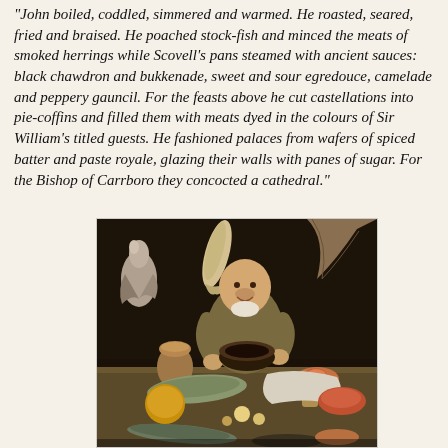"John boiled, coddled, simmered and warmed. He roasted, seared, fried and braised. He poached stock-fish and minced the meats of smoked herrings while Scovell's pans steamed with ancient sauces: black chawdron and bukkenade, sweet and sour egredouce, camelade and peppery gauncil. For the feasts above he cut castellations into pie-coffins and filled them with meats dyed in the colours of Sir William's titled guests. He fashioned palaces from wafers of spiced batter and paste royale, glazing their walls with panes of sugar. For the Bishop of Carrboro they concocted a cathedral."
[Figure (photo): A painting of a jovial, heavy-set man holding up a dark bowl, surrounded by fish, game birds, pottery, and various foods on a table. The scene resembles a Flemish or Dutch Baroque kitchen/market still life with a cook or merchant figure.]